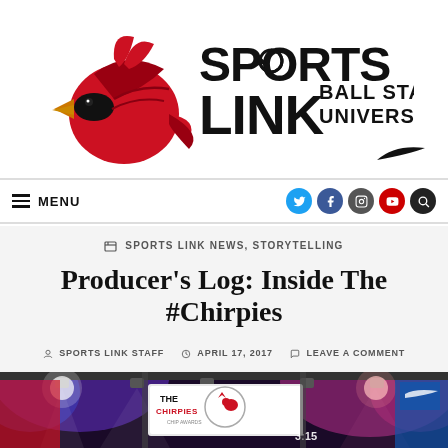[Figure (logo): Sports Link Ball State University logo with cardinal bird mascot and Nike swoosh]
MENU | social icons: Twitter, Facebook, Instagram, YouTube, Search
SPORTS LINK NEWS, STORYTELLING
Producer’s Log: Inside The #Chirpies
SPORTS LINK STAFF   APRIL 17, 2017   LEAVE A COMMENT
[Figure (photo): Event stage photo showing 'The Chirpies' award show logo on a screen, with stage lighting and a countdown timer showing 3:15]